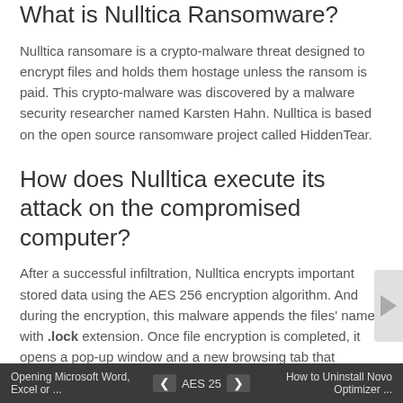What is Nulltica Ransomware?
Nulltica ransomare is a crypto-malware threat designed to encrypt files and holds them hostage unless the ransom is paid. This crypto-malware was discovered by a malware security researcher named Karsten Hahn. Nulltica is based on the open source ransomware project called HiddenTear.
How does Nulltica execute its attack on the compromised computer?
After a successful infiltration, Nulltica encrypts important stored data using the AES 256 encryption algorithm. And during the encryption, this malware appends the files' names with .lock extension. Once file encryption is completed, it opens a pop-up window and a new browsing tab that redirects you to WikiHow's “How To Send Bitcoins” web page. The pop-up window contains its ransom note that states:
“Your files have been blocked
Opening Microsoft Word, Excel or ... ❮ 25 ❯ How to Uninstall Novo Optimizer ...